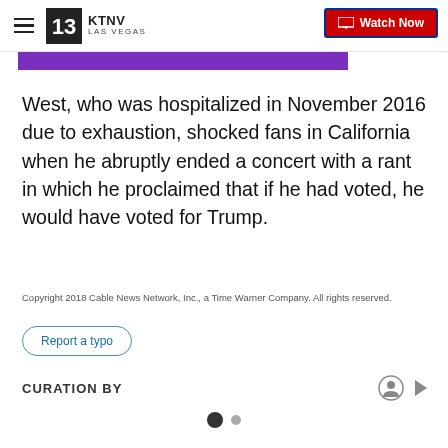KTNV LAS VEGAS | Watch Now
[Figure (other): Purple advertisement banner strip]
West, who was hospitalized in November 2016 due to exhaustion, shocked fans in California when he abruptly ended a concert with a rant in which he proclaimed that if he had voted, he would have voted for Trump.
Copyright 2018 Cable News Network, Inc., a Time Warner Company. All rights reserved.
Report a typo
CURATION BY